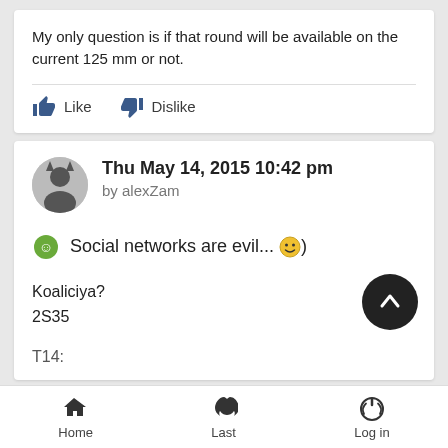My only question is if that round will be available on the current 125 mm or not.
Like   Dislike
Thu May 14, 2015 10:42 pm
by alexZam
Social networks are evil...:)
Koaliciya?
2S35
T14:
Home   Last   Log in